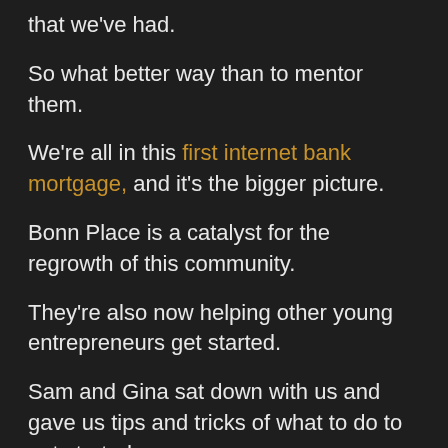that we've had.
So what better way than to mentor them.
We're all in this first internet bank mortgage, and it's the bigger picture.
Bonn Place is a catalyst for the regrowth of this community.
They're also now helping other young entrepreneurs get started.
Sam and Gina sat down with us and gave us tips and tricks of what to do to get started.
We had this idea.
And they believe in us.